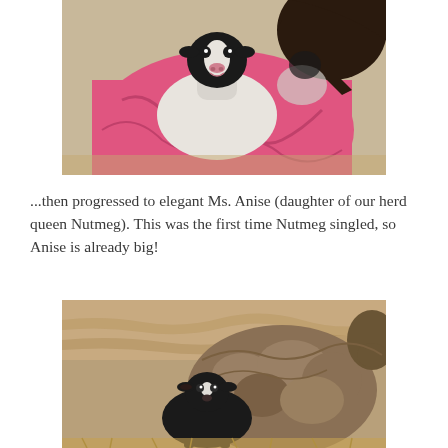[Figure (photo): A young lamb with black and white face being held by a person in a pink jacket, close-up shot]
...then progressed to elegant Ms. Anise (daughter of our herd queen Nutmeg). This was the first time Nutmeg singled, so Anise is already big!
[Figure (photo): A small black lamb standing beside a large woolly sheep with brown/gray fleece in a barn setting]